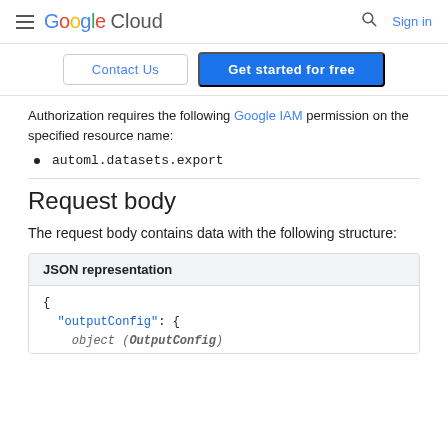Google Cloud  Sign in
Contact Us  Get started for free
Authorization requires the following Google IAM permission on the specified resource name:
automl.datasets.export
Request body
The request body contains data with the following structure:
JSON representation
{
  "outputConfig": {
    object (OutputConfig)